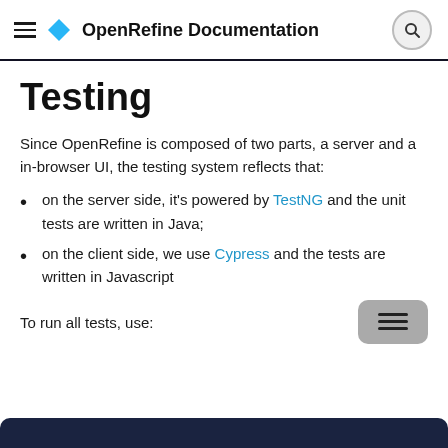OpenRefine Documentation
Testing
Since OpenRefine is composed of two parts, a server and a in-browser UI, the testing system reflects that:
on the server side, it's powered by TestNG and the unit tests are written in Java;
on the client side, we use Cypress and the tests are written in Javascript
To run all tests, use: